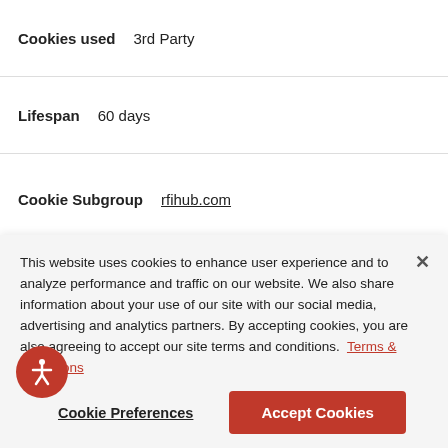| Cookies used | 3rd Party |
| Lifespan | 60 days |
| Cookie Subgroup | rfihub.com |
| Cookies | eud, ruds, smd, rud, euds |
| Cookies used | 3rd Party |
This website uses cookies to enhance user experience and to analyze performance and traffic on our website. We also share information about your use of our site with our social media, advertising and analytics partners. By accepting cookies, you are also agreeing to accept our site terms and conditions. Terms & Conditions
Cookie Preferences
Accept Cookies